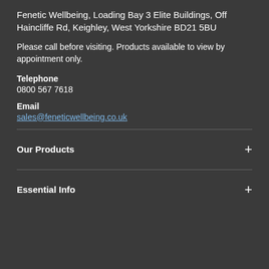Fenetic Wellbeing, Loading Bay 3 Elite Buildings, Off Haincliffe Rd, Keighley, West Yorkshire BD21 5BU
Please call before visiting. Products available to view by appointment only.
Telephone
0800 567 7618
Email
sales@feneticwellbeing.co.uk
Our Products
Essential Info